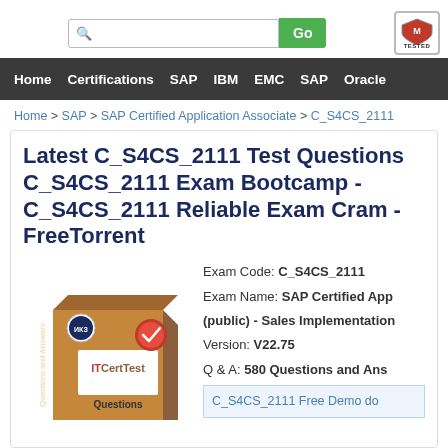Search Go [McAfee TESTED]
Home | Certifications | SAP | IBM | EMC | SAP | Oracle
Home > SAP > SAP Certified Application Associate > C_S4CS_2111
Latest C_S4CS_2111 Test Questions C_S4CS_2111 Exam Bootcamp - C_S4CS_2111 Reliable Exam Cram - FreeTorrent
Exam Code: C_S4CS_2111
Exam Name: SAP Certified App (public) - Sales Implementation
Version: V22.75
Q & A: 580 Questions and Answers
C_S4CS_2111 Free Demo download